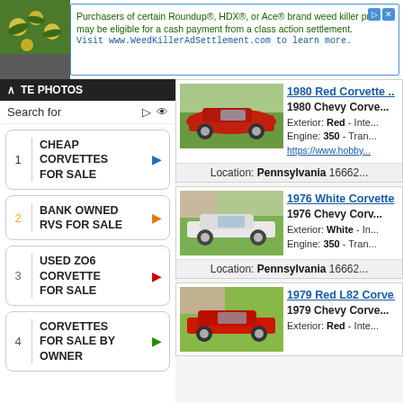[Figure (screenshot): Ad banner for Roundup/HDX/Ace weed killer class action settlement with flower image]
Purchasers of certain Roundup®, HDX®, or Ace® brand weed killer products may be eligible for a cash payment from a class action settlement. Visit www.WeedKillerAdSettlement.com to learn more.
1 CHEAP CORVETTES FOR SALE
2 BANK OWNED RVS FOR SALE
3 USED ZO6 CORVETTE FOR SALE
4 CORVETTES FOR SALE BY OWNER
[Figure (photo): 1980 Red Corvette photo]
1980 Red Corvette ...
1980 Chevy Corve...
Exterior: Red - Inte... Engine: 350 - Tran... https://www.hobby...
Location: Pennsylvania 16662...
[Figure (photo): 1976 White Corvette photo]
1976 White Corvette
1976 Chevy Corv...
Exterior: White - In... Engine: 350 - Tran...
Location: Pennsylvania 16662...
[Figure (photo): 1979 Red L82 Corvette photo]
1979 Red L82 Corve...
1979 Chevy Corve...
Exterior: Red - Inte...